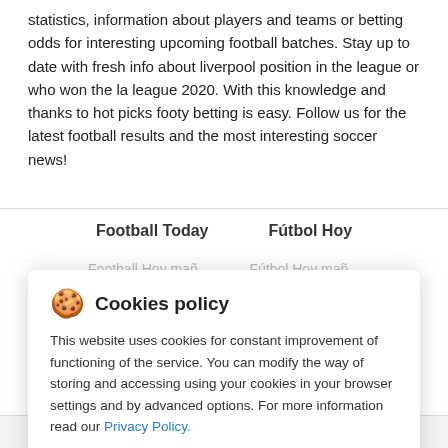statistics, information about players and teams or betting odds for interesting upcoming football batches. Stay up to date with fresh info about liverpool position in the league or who won the la league 2020. With this knowledge and thanks to hot picks footy betting is easy. Follow us for the latest football results and the most interesting soccer news!
Football Today   Fútbol Hoy
Cookies policy
This website uses cookies for constant improvement of functioning of the service. You can modify the way of storing and accessing using your cookies in your browser settings and by advanced options. For more information read our Privacy Policy.
Accept
Home   Streams   Predictions   On TV